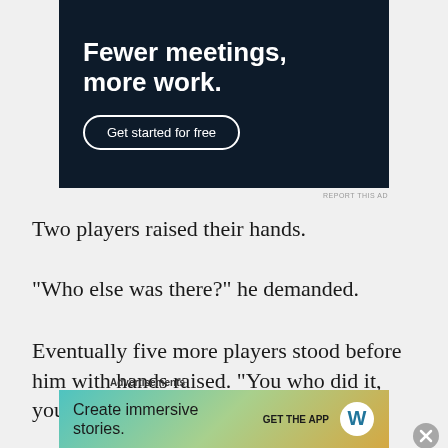[Figure (screenshot): Dark navy advertisement banner reading 'Fewer meetings, more work.' with a 'Get started for free' button in rounded border]
REPORT THIS AD
Two players raised their hands.
“Who else was there?” he demanded.
Eventually five more players stood before him with hands raised. “You who did it, you are out a half,” Kitna
Advertisements
[Figure (screenshot): Colorful gradient advertisement for WordPress app reading 'Create immersive stories.' with 'GET THE APP' and WordPress logo]